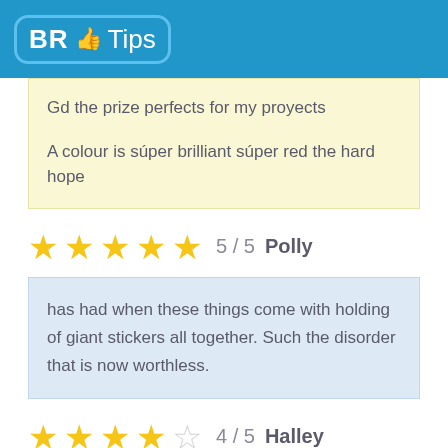BR Tips
Gd the prize perfects for my proyects

A colour is súper brilliant súper red the hard hope
5 / 5  Polly
has had when these things come with holding of giant stickers all together. Such the disorder that is now worthless.
4 / 5  Halley